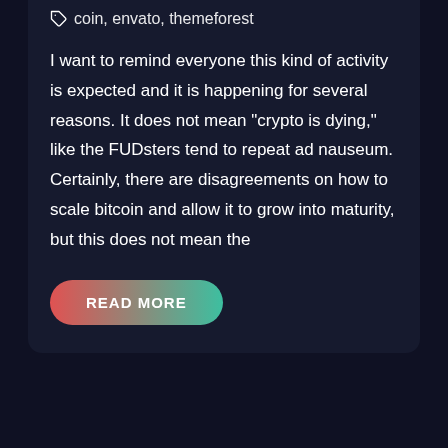coin, envato, themeforest
I want to remind everyone this kind of activity is expected and it is happening for several reasons. It does not mean “crypto is dying,” like the FUDsters tend to repeat ad nauseum. Certainly, there are disagreements on how to scale bitcoin and allow it to grow into maturity, but this does not mean the
READ MORE
Search For